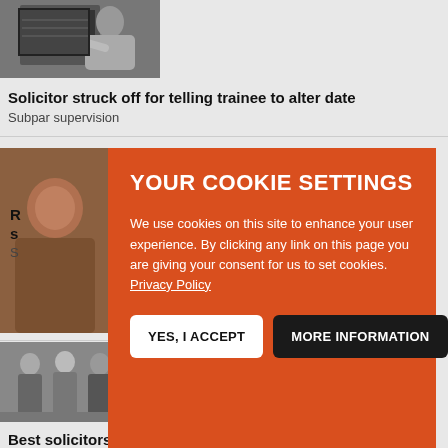[Figure (photo): Black and white photo of a man working at a computer screen]
Solicitor struck off for telling trainee to alter date
Subpar supervision
[Figure (photo): Partially visible photo behind cookie banner showing people in brownish/red tones]
R... s... S...
[Figure (screenshot): Cookie consent banner with orange/red background]
YOUR COOKIE SETTINGS
We use cookies on this site to enhance your user experience. By clicking any link on this page you are giving your consent for us to set cookies. Privacy Policy
YES, I ACCEPT
MORE INFORMATION
[Figure (photo): Photo of people standing together, appears to be soldiers or uniformed personnel]
Best solicitors will get brain chip implants, predicts Law Society
Can detect 'units of attention'